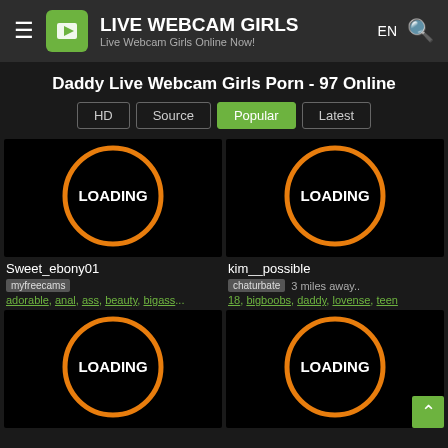LIVE WEBCAM GIRLS – Live Webcam Girls Online Now!
Daddy Live Webcam Girls Porn - 97 Online
HD | Source | Popular | Latest
[Figure (screenshot): Loading webcam thumbnail for Sweet_ebony01]
Sweet_ebony01
myfreecams
adorable, anal, ass, beauty, bigass...
[Figure (screenshot): Loading webcam thumbnail for kim__possible]
kim__possible
chaturbate  3 miles away..
18, bigboobs, daddy, lovense, teen
[Figure (screenshot): Loading webcam thumbnail (third card)]
[Figure (screenshot): Loading webcam thumbnail (fourth card)]